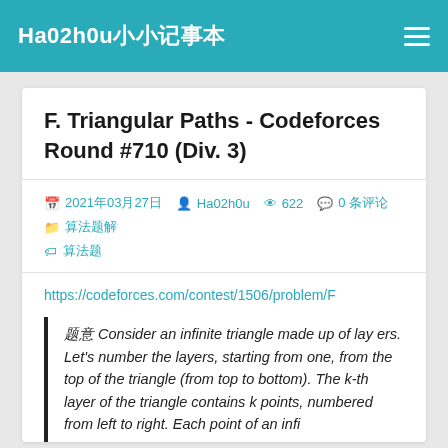Ha02h0u小小记事本
F. Triangular Paths - Codeforces Round #710 (Div. 3)
2021年03月27日  Ha02h0u  622  0 条评论  算法题解  算法题
https://codeforces.com/contest/1506/problem/F
题意: Consider an infinite triangle made up of layers. Let's number the layers, starting from one, from the top of the triangle (from top to bottom). The k-th layer of the triangle contains k points, numbered from left to right. Each point of an infi